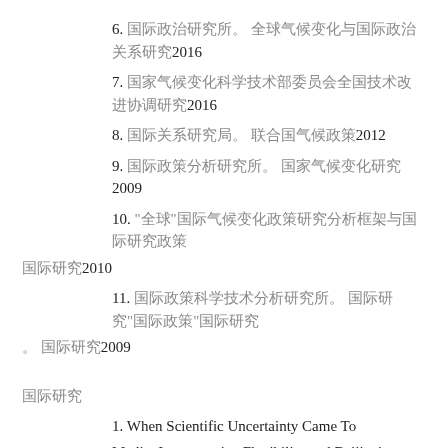6. [CJK text] 2016
7. [CJK text] 2016
8. [CJK text] 2012
9. [CJK text] 2009
10. “[CJK]”[CJK text] [CJK]2010
11. [CJK text]. [CJK]“[CJK]”[CJK] [CJK]2009
[CJK section header]
1. When Scientific Uncertainty Came To Media: Interpretative Flexibility and Beijing’s Air Pollution Controversy, ICA 67th Annual